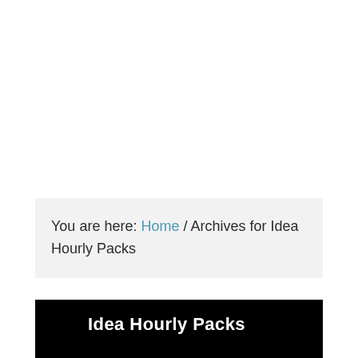You are here: Home / Archives for Idea Hourly Packs
Idea Hourly Packs